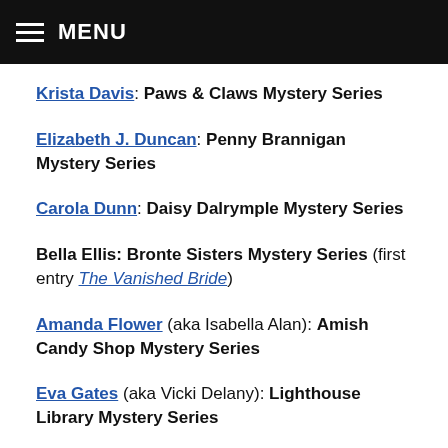MENU
Krista Davis: Paws & Claws Mystery Series
Elizabeth J. Duncan: Penny Brannigan Mystery Series
Carola Dunn: Daisy Dalrymple Mystery Series
Bella Ellis: Bronte Sisters Mystery Series (first entry The Vanished Bride)
Amanda Flower (aka Isabella Alan): Amish Candy Shop Mystery Series
Eva Gates (aka Vicki Delany): Lighthouse Library Mystery Series
Sally Goldenbaum: Seaside Knitters Mystery Series